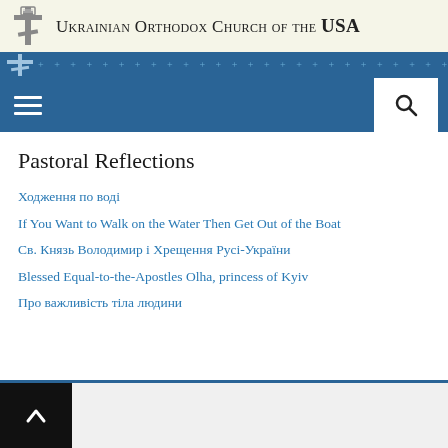Ukrainian Orthodox Church of the USA
Pastoral Reflections
Ходження по воді
If You Want to Walk on the Water Then Get Out of the Boat
Св. Князь Володимир і Хрещення Русі-України
Blessed Equal-to-the-Apostles Olha, princess of Kyiv
Про важливість тіла людини